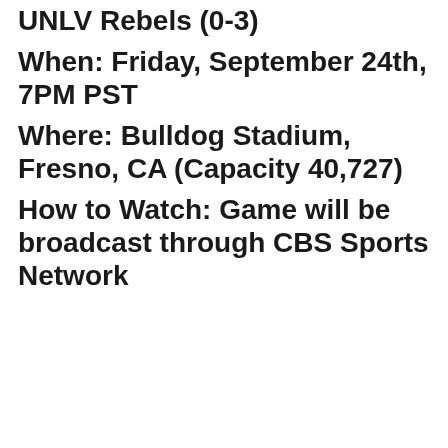UNLV Rebels (0-3)
When: Friday, September 24th, 7PM PST
Where: Bulldog Stadium, Fresno, CA (Capacity 40,727)
How to Watch: Game will be broadcast through CBS Sports Network